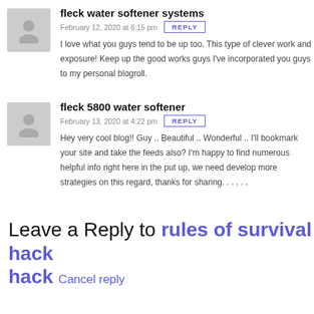fleck water softener systems
February 12, 2020 at 6:15 pm
I love what you guys tend to be up too. This type of clever work and exposure! Keep up the good works guys I've incorporated you guys to my personal blogroll.
fleck 5800 water softener
February 13, 2020 at 4:22 pm
Hey very cool blog!! Guy .. Beautiful .. Wonderful .. I'll bookmark your site and take the feeds also? I'm happy to find numerous helpful info right here in the put up, we need develop more strategies on this regard, thanks for sharing. . . . . .
Leave a Reply to rules of survival hack Cancel reply